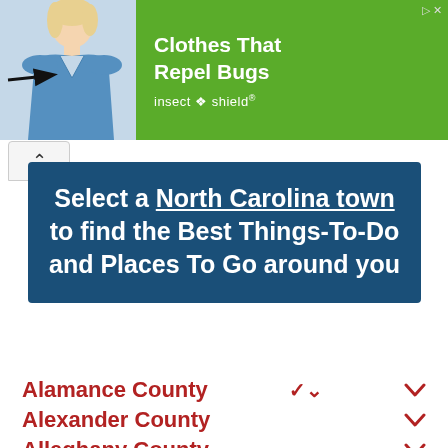[Figure (illustration): Advertisement banner showing a woman in blue scrubs with an arrow pointing to her clothing, and green panel with text 'Clothes That Repel Bugs' and 'insect shield' brand logo]
Select a North Carolina town to find the Best Things-To-Do and Places To Go around you
Alamance County
Alexander County
Alleghany County
Anson County
Ashe County